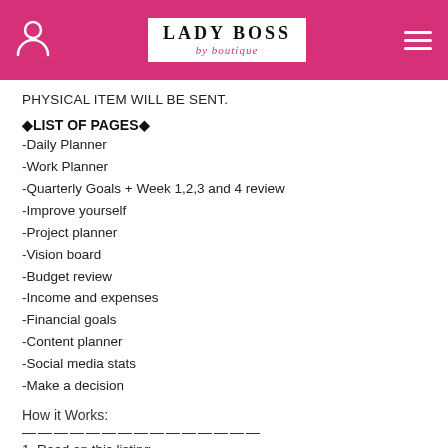LADY BOSS by boutique
PHYSICAL ITEM WILL BE SENT.
◆LIST OF PAGES◆
-Daily Planner
-Work Planner
-Quarterly Goals + Week 1,2,3 and 4 review
-Improve yourself
-Project planner
-Vision board
-Budget review
-Income and expenses
-Financial goals
-Content planner
-Social media stats
-Make a decision
How it Works:
———————————————
1. Read on this listing...